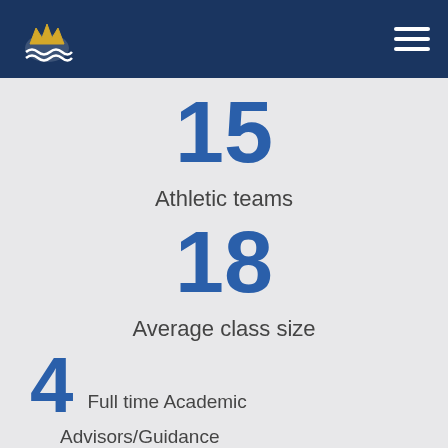Columbia Grammar & Preparatory School
15
Athletic teams
18
Average class size
4 Full time Academic Advisors/Guidance